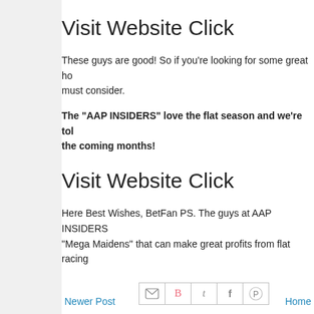Visit Website Click
These guys are good! So if you're looking for some great ho must consider.
The "AAP INSIDERS" love the flat season and we're tol the coming months!
Visit Website Click
Here Best Wishes, BetFan PS. The guys at AAP INSIDERS "Mega Maidens" that can make great profits from flat racing
[Figure (other): Social sharing icons: email (M), Blogger (B), Twitter (t), Facebook (f), Pinterest (circle with P)]
Newer Post    Home